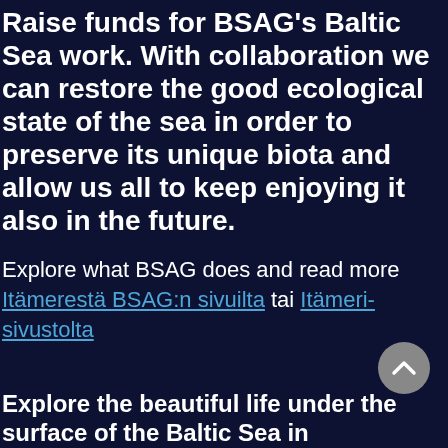Raise funds for BSAG's Baltic Sea work. With collaboration we can restore the good ecological state of the sea in order to preserve its unique biota and allow us all to keep enjoying it also in the future.
Explore what BSAG does and read more Itämerestä BSAG:n sivuilta tai Itämeri-sivustolta
Explore the beautiful life under the surface of the Baltic Sea in the video below!